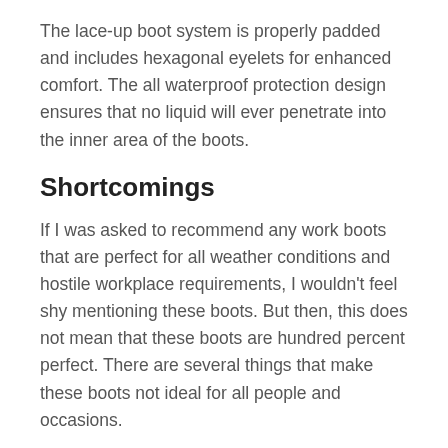The lace-up boot system is properly padded and includes hexagonal eyelets for enhanced comfort. The all waterproof protection design ensures that no liquid will ever penetrate into the inner area of the boots.
Shortcomings
If I was asked to recommend any work boots that are perfect for all weather conditions and hostile workplace requirements, I wouldn't feel shy mentioning these boots. But then, this does not mean that these boots are hundred percent perfect. There are several things that make these boots not ideal for all people and occasions.
First and foremost, the inner soles are very flimsy. Their design nature does not allow them to last for long as they tend to wear off within a period of fewer than 3 months.